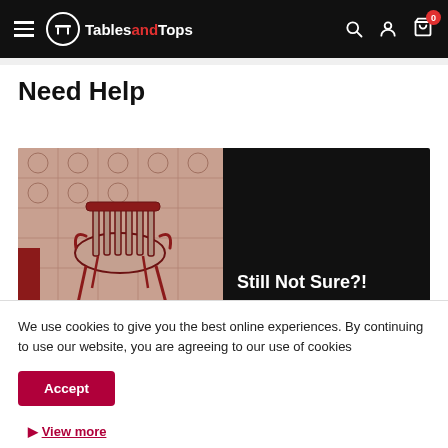TablesandTops — navigation bar with logo, search, account, cart (0)
Need Help
[Figure (photo): Left half: overhead photo of a red-framed chair on decorative tiled floor. Right half: black panel with text 'Still Not Sure?!']
Still Not Sure?!
We use cookies to give you the best online experiences. By continuing to use our website, you are agreeing to our use of cookies
Accept
View more